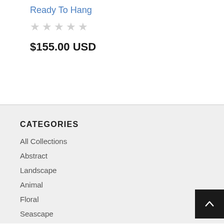Ready To Hang
★★★★★
$155.00 USD
CATEGORIES
All Collections
Abstract
Landscape
Animal
Floral
Seascape